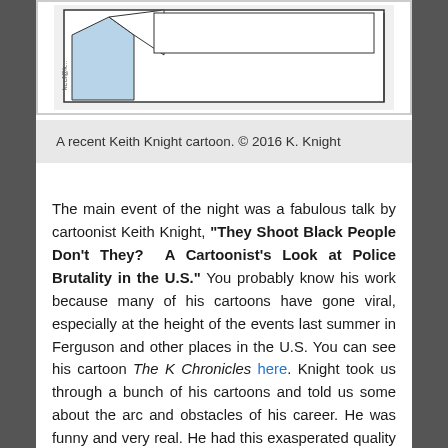[Figure (illustration): A recent Keith Knight cartoon showing a partial view of a comic strip with a blue/white character or speech bubble visible, with 'keef@k...' signature visible on the left side.]
A recent Keith Knight cartoon. © 2016 K. Knight
The main event of the night was a fabulous talk by cartoonist Keith Knight, "They Shoot Black People Don't They? A Cartoonist's Look at Police Brutality in the U.S." You probably know his work because many of his cartoons have gone viral, especially at the height of the events last summer in Ferguson and other places in the U.S. You can see his cartoon The K Chronicles here. Knight took us through a bunch of his cartoons and told us some about the arc and obstacles of his career. He was funny and very real. He had this exasperated quality when it came to talking about the ways we are deeply embedded in a history of corruption and injustice, like he's come back into Plato's cave from outside to explain. You know what I'm talking about, that kind of realness where laughter is the only